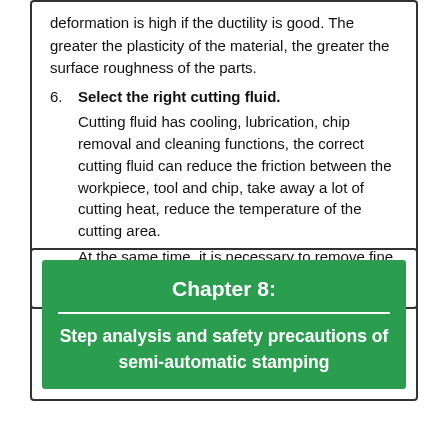deformation is high if the ductility is good. The greater the plasticity of the material, the greater the surface roughness of the parts.
6. Select the right cutting fluid. Cutting fluid has cooling, lubrication, chip removal and cleaning functions, the correct cutting fluid can reduce the friction between the workpiece, tool and chip, take away a lot of cutting heat, reduce the temperature of the cutting area. At the same time, it is necessary to remove fine chips manually and timely or automatically.
Chapter 8:
Step analysis and safety precautions of semi-automatic stamping